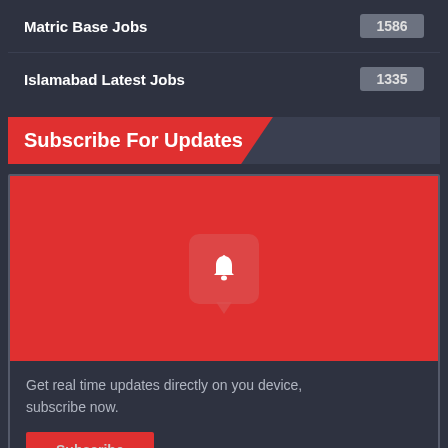Matric Base Jobs — 1586
Islamabad Latest Jobs — 1335
Subscribe For Updates
[Figure (infographic): Red box with a bell/notification icon inside a speech bubble shape]
Get real time updates directly on you device, subscribe now.
Subscribe